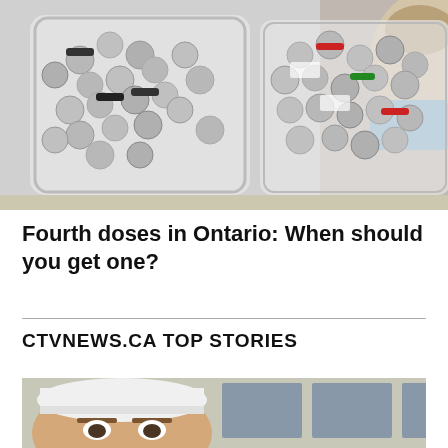[Figure (photo): Two glass jars filled with many small vaccine vials with metal caps (silver, red, green colors). A woman wearing a blue surgical mask is visible in the background, looking down.]
Fourth doses in Ontario: When should you get one?
CTVNEWS.CA TOP STORIES
[Figure (photo): Close-up photo of a man wearing a white surgical cap, visible from forehead to just above the eyes. A building with windows is visible in the background.]